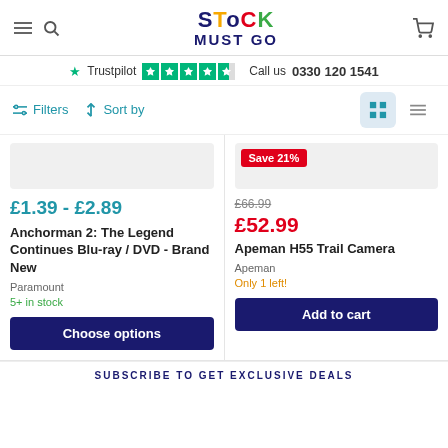Stock Must Go - hamburger menu, search, cart
Trustpilot  ★★★★½  Call us  0330 120 1541
Filters  Sort by  (grid/list view toggles)
£1.39 - £2.89
Anchorman 2: The Legend Continues Blu-ray / DVD - Brand New
Paramount
5+ in stock
Choose options
Save 21%
£66.99
£52.99
Apeman H55 Trail Camera
Apeman
Only 1 left!
Add to cart
SUBSCRIBE TO GET EXCLUSIVE DEALS